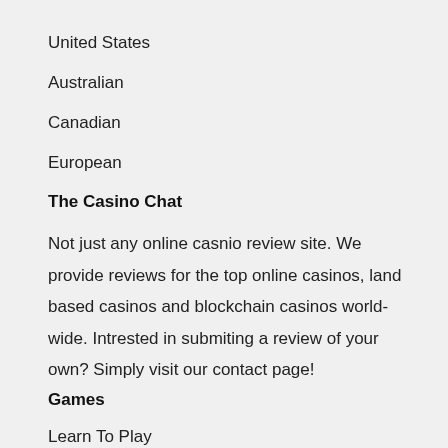United States
Australian
Canadian
European
The Casino Chat
Not just any online casnio review site. We provide reviews for the top online casinos, land based casinos and blockchain casinos world-wide. Intrested in submiting a review of your own? Simply visit our contact page!
Games
Learn To Play
More